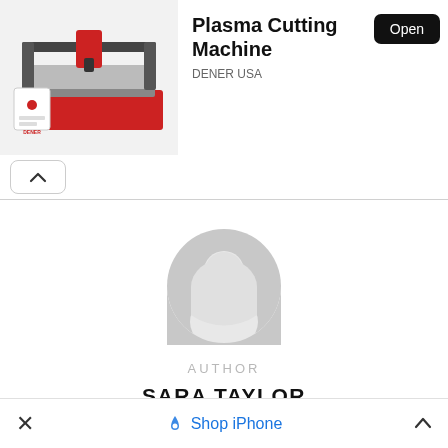[Figure (photo): Advertisement banner showing a red and white CNC plasma cutting machine with the title 'Plasma Cutting Machine', brand 'DENER USA', and an 'Open' button]
Plasma Cutting Machine
DENER USA
Open
[Figure (illustration): Default user avatar icon — grey circle with a person silhouette]
AUTHOR
SARA TAYLOR
Shop iPhone